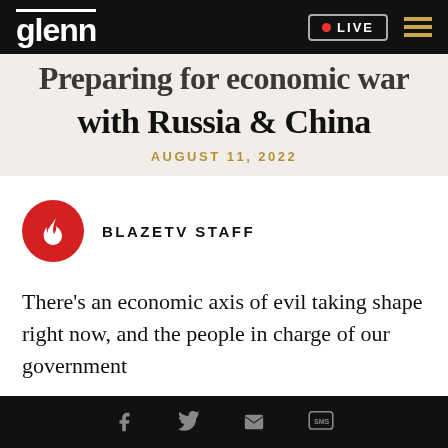glenn | LIVE
Preparing for economic war with Russia & China
AUGUST 11, 2022
[Figure (logo): BlazeTV flame logo in red circle]
BLAZETV STAFF
There's an economic axis of evil taking shape right now, and the people in charge of our government
Social share icons: Facebook, Twitter, Email, SMS